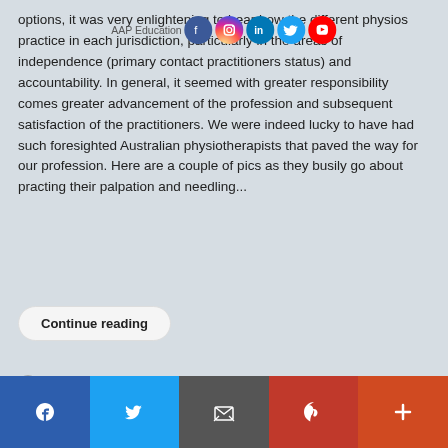AAP Education
options, it was very enlightening to hear how the different physios practice in each jurisdiction, particularly in the areas of independence (primary contact practitioners status) and accountability. In general, it seemed with greater responsibility comes greater advancement of the profession and subsequent satisfaction of the practitioners. We were indeed lucky to have had such foresighted Australian physiotherapists that paved the way for our profession. Here are a couple of pics as they busily go about practing their palpation and needling...
Continue reading
4521 Hits
[Figure (infographic): Social sharing buttons: Like 0 (Facebook), Share (Facebook), Share (LinkedIn), Tweet (Twitter), Save (Pinterest), count 0, reCAPTCHA box]
[Figure (infographic): Bottom navigation bar with social media icons: Facebook, Twitter, Email, Pinterest, More (+)]